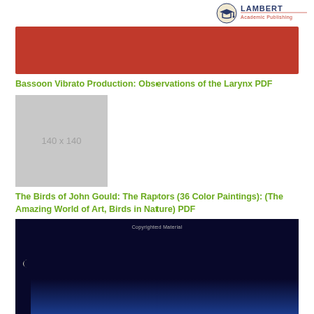[Figure (logo): Lambert Academic Publishing logo with book and graduation cap icon]
[Figure (illustration): Red banner/cover image for Bassoon Vibrato Production book]
Bassoon Vibrato Production: Observations of the Larynx PDF
[Figure (illustration): Gray placeholder image 140 x 140]
The Birds of John Gould: The Raptors (36 Color Paintings): (The Amazing World of Art, Birds in Nature) PDF
[Figure (photo): Dark night sky image with moon crescent and blue earth glow, text 'Copyrighted Material']